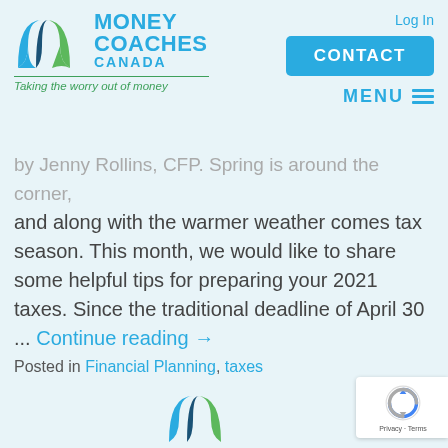[Figure (logo): Money Coaches Canada logo with stylized bird/arc shapes in blue and green, company name and tagline 'Taking the worry out of money']
Log In | CONTACT | MENU
by Jenny Rollins, CFP. Spring is around the corner, and along with the warmer weather comes tax season. This month, we would like to share some helpful tips for preparing your 2021 taxes. Since the traditional deadline of April 30 ... Continue reading →
Posted in Financial Planning, taxes